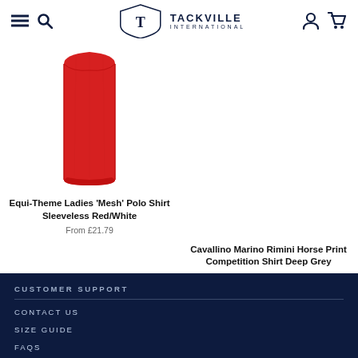Tackville International
[Figure (photo): Red sleeveless polo shirt product photo on white background]
Equi-Theme Ladies 'Mesh' Polo Shirt Sleeveless Red/White
From £21.79
Cavallino Marino Rimini Horse Print Competition Shirt Deep Grey
CUSTOMER SUPPORT
CONTACT US
SIZE GUIDE
FAQS
ABOUT US
NEWSLETTER